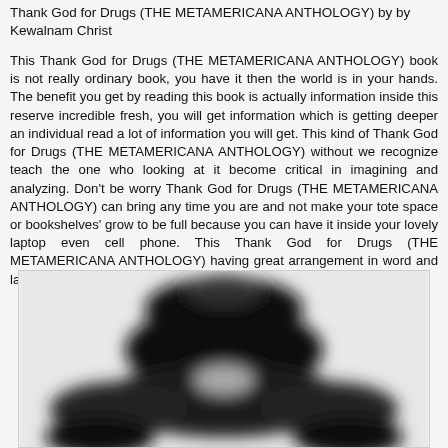Thank God for Drugs (THE METAMERICANA ANTHOLOGY) by by Kewalnam Christ
This Thank God for Drugs (THE METAMERICANA ANTHOLOGY) book is not really ordinary book, you have it then the world is in your hands. The benefit you get by reading this book is actually information inside this reserve incredible fresh, you will get information which is getting deeper an individual read a lot of information you will get. This kind of Thank God for Drugs (THE METAMERICANA ANTHOLOGY) without we recognize teach the one who looking at it become critical in imagining and analyzing. Don't be worry Thank God for Drugs (THE METAMERICANA ANTHOLOGY) can bring any time you are and not make your tote space or bookshelves' grow to be full because you can have it inside your lovely laptop even cell phone. This Thank God for Drugs (THE METAMERICANA ANTHOLOGY) having great arrangement in word and layout, so you will not really feel uninterested in reading.
[Figure (photo): A blurred black and white photograph, possibly showing a book cover or abstract figure, heavily blurred and obscured.]